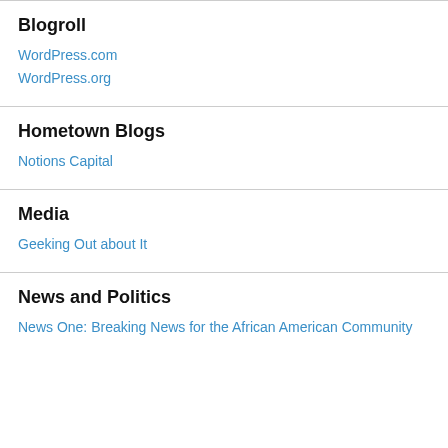Blogroll
WordPress.com
WordPress.org
Hometown Blogs
Notions Capital
Media
Geeking Out about It
News and Politics
News One: Breaking News for the African American Community